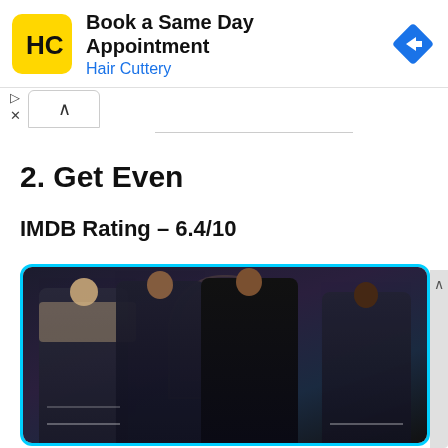[Figure (screenshot): Advertisement banner for Hair Cuttery - Book a Same Day Appointment. Shows HC logo on yellow background, text, and a blue navigation arrow icon.]
2. Get Even
IMDB Rating – 6.4/10
[Figure (photo): Promotional photo of four teenage girls in school uniforms (dark blazers with crests) standing together in front of an arched doorway. The show is 'Get Even'.]